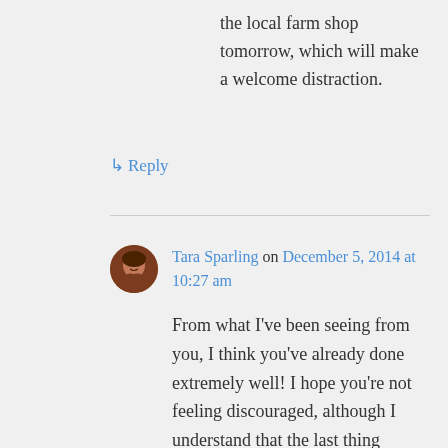the local farm shop tomorrow, which will make a welcome distraction.
↳ Reply
Tara Sparling on December 5, 2014 at 10:27 am
From what I've been seeing from you, I think you've already done extremely well! I hope you're not feeling discouraged, although I understand that the last thing anyone needs is trouble from Amazon. Self-publishing is a slow, slow burn, but your start seems to